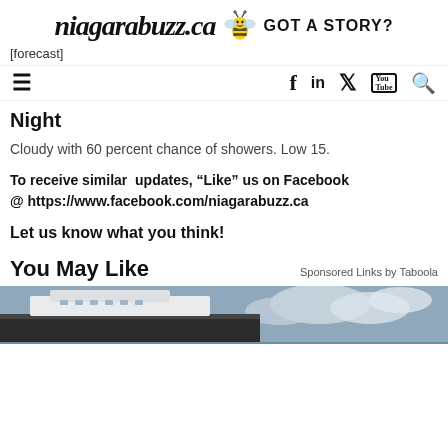niagarabuzz.ca GOT A STORY?
[forecast]
≡  f  in  🐦  You  🔍
Night
Cloudy with 60 percent chance of showers. Low 15.
To receive similar updates, "Like" us on Facebook @ https://www.facebook.com/niagarabuzz.ca
Let us know what you think!
You May Like
Sponsored Links by Taboola
[Figure (photo): Photo of a cruise ship hull against a cloudy sky]